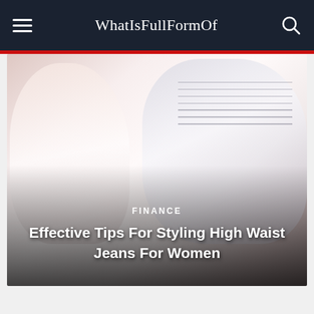WhatIsFullFormOf
[Figure (photo): Two women smiling, wearing casual clothing including jeans, shown in a faded/washed-out style image used as a hero banner background]
FINANCE
Effective Tips For Styling High Waist Jeans For Women